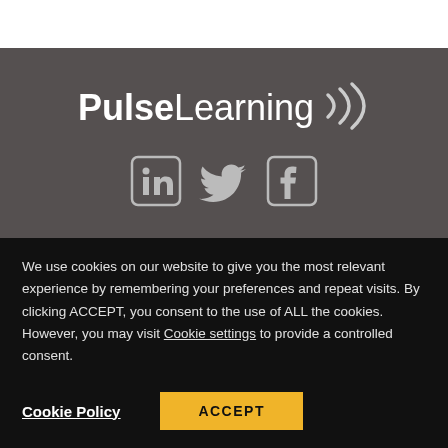[Figure (logo): PulseLearning logo with signal waves, white text on dark grey background, with LinkedIn, Twitter, and Facebook social media icons below]
We use cookies on our website to give you the most relevant experience by remembering your preferences and repeat visits. By clicking ACCEPT, you consent to the use of ALL the cookies. However, you may visit Cookie settings to provide a controlled consent.
Cookie Policy
ACCEPT